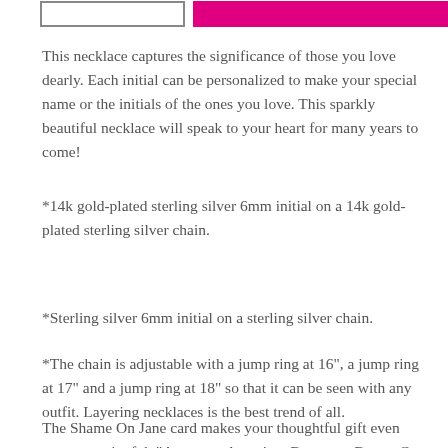[Figure (other): Top navigation bar with a white rectangle outline on the left and a solid magenta/pink filled button on the right]
This necklace captures the significance of those you love dearly. Each initial can be personalized to make your special name or the initials of the ones you love. This sparkly beautiful necklace will speak to your heart for many years to come!
*14k gold-plated sterling silver 6mm initial on a 14k gold-plated sterling silver chain.
*Sterling silver 6mm initial on a sterling silver chain.
*The chain is adjustable with a jump ring at 16", a jump ring at 17" and a jump ring at 18" so that it can be seen with any outfit. Layering necklaces is the best trend of all.
The Shame On Jane card makes your thoughtful gift even more meaningful.  "A you are Amazing, B you are Brave, C you